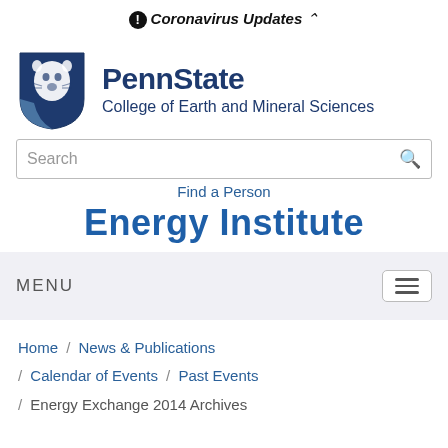⓵ Coronavirus Updates ∨
[Figure (logo): Penn State Nittany Lion shield logo in dark navy blue with white lion illustration]
PennState College of Earth and Mineral Sciences
Search
Find a Person
Energy Institute
MENU
Home / News & Publications / Calendar of Events / Past Events / Energy Exchange 2014 Archives